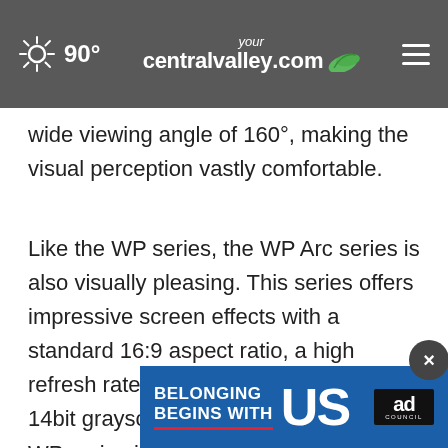90° yourcentralvalley.com
wide viewing angle of 160°, making the visual perception vastly comfortable.
Like the WP series, the WP Arc series is also visually pleasing. This series offers impressive screen effects with a standard 16:9 aspect ratio, a high refresh rate of 3840Hz, and outstanding 14bit grayscale. The difference from the WP series is that the cabinets in the WP Arc series could be connected at a 15° angle, joining result rved
[Figure (other): Ad banner: 'Belonging Begins With US' Ad Council advertisement overlay at bottom of page with close button]